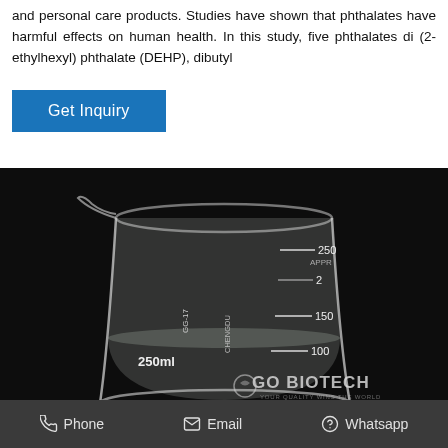and personal care products. Studies have shown that phthalates have harmful effects on human health. In this study, five phthalates di (2-ethylhexyl) phthalate (DEHP), dibutyl
Get Inquiry
[Figure (photo): A 250ml glass laboratory beaker containing a clear liquid, with graduation marks visible at 100, 150, 200, 250 ml. The beaker is labeled 'CHENGDU' and branded 'GG-17'. Background is dark/black. A watermark reads 'GO BIOTECH' with tagline 'YOUR QUALITY WINS THE WORLD'.]
Phone   Email   Whatsapp